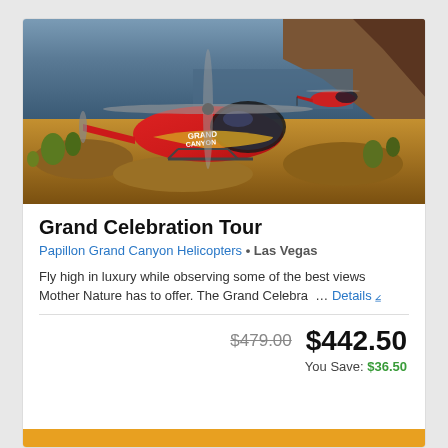[Figure (photo): Red Grand Canyon helicopter on rocky canyon floor with river and canyon walls in background, two helicopters visible]
Grand Celebration Tour
Papillon Grand Canyon Helicopters • Las Vegas
Fly high in luxury while observing some of the best views Mother Nature has to offer. The Grand Celebra … Details
$479.00  $442.50
You Save: $36.50